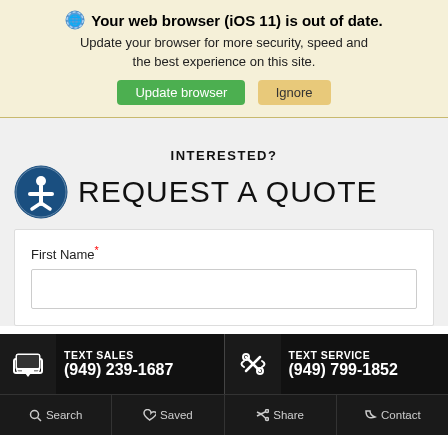Your web browser (iOS 11) is out of date. Update your browser for more security, speed and the best experience on this site.
INTERESTED?
REQUEST A QUOTE
First Name*
TEXT SALES (949) 239-1687
TEXT SERVICE (949) 799-1852
Search  Saved  Share  Contact